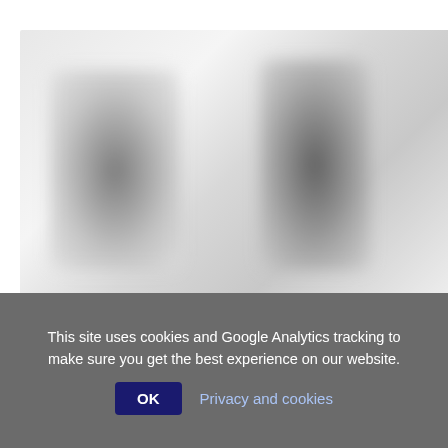[Figure (photo): Blurred black and white photo showing two human figures, likely sculptures or people, on a light grey background]
Flowerfield Arts Centre: Online Exhibitions
Adult • Call to exhibit • Kids • Reflective • Teens • View exhibition • Visual • You can share and show
Add to my list
This site uses cookies and Google Analytics tracking to make sure you get the best experience on our website.
OK   Privacy and cookies